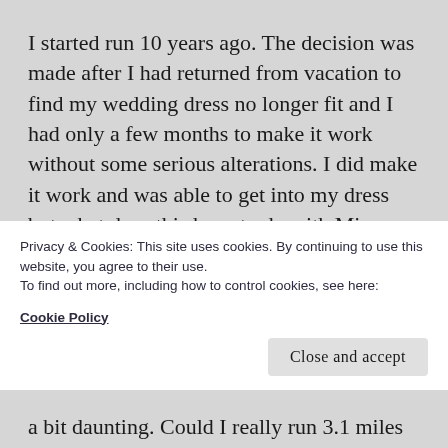I started run 10 years ago.  The decision was made after I had returned from vacation to find my wedding dress no longer fit and I had only a few months to make it work without some serious alterations. I did make it work and was able to get into my dress but what does this have to do with Mine Falls?  Here it is....
While getting out and burning off those extra dinners out. I realized I enjoyed running and
Privacy & Cookies: This site uses cookies. By continuing to use this website, you agree to their use.
To find out more, including how to control cookies, see here: Cookie Policy
Close and accept
a bit daunting. Could I really run 3.1 miles